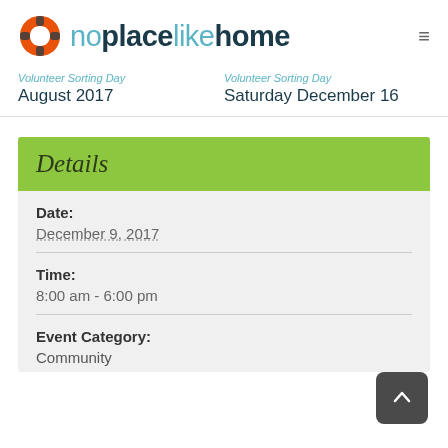noplacelikehome
Volunteer Sorting Day August 2017
Volunteer Sorting Day Saturday December 16
Details
Date:
December 9, 2017
Time:
8:00 am - 6:00 pm
Event Category:
Community